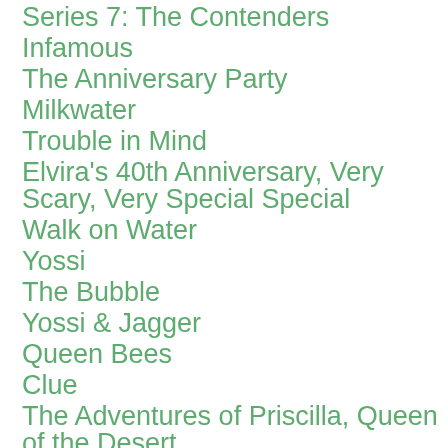Series 7: The Contenders
Infamous
The Anniversary Party
Milkwater
Trouble in Mind
Elvira's 40th Anniversary, Very Scary, Very Special Special
Walk on Water
Yossi
The Bubble
Yossi & Jagger
Queen Bees
Clue
The Adventures of Priscilla, Queen of the Desert
Giant Little Ones
Twilight's Kiss
La Cage Aux Folles